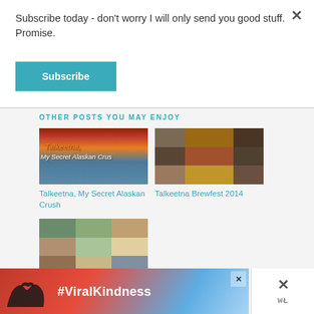Subscribe today - don't worry I will only send you good stuff. Promise.
Subscribe
OTHER POSTS YOU MAY ENJOY
[Figure (photo): Thumbnail image for 'Talkeetna, My Secret Alaskan Crush' blog post — sunset sky over water with orange/red clouds and overlay text]
Talkeetna, My Secret Alaskan Crush
[Figure (photo): Thumbnail image for 'Talkeetna Brewfest 2014' blog post — mosaic collage of photos with a large beer glass in the center]
Talkeetna Brewfest 2014
[Figure (photo): Thumbnail image for a third blog post — mosaic of lodge and nature photos]
[Figure (photo): Advertisement banner with hands forming heart shape silhouette and #ViralKindness hashtag]